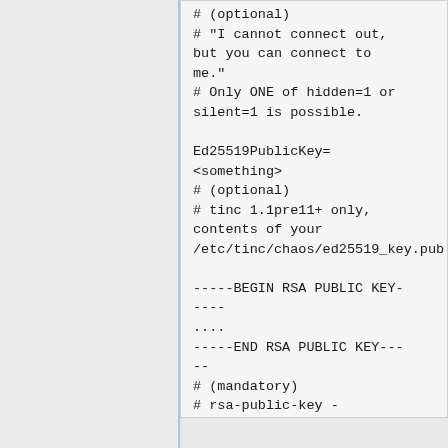# (optional)
# "I cannot connect out,
but you can connect to
me."
# Only ONE of hidden=1 or
silent=1 is possible.

Ed25519PublicKey=
<something>
# (optional)
# tinc 1.1pre11+ only,
contents of your
/etc/tinc/chaos/ed25519_key.pub

-----BEGIN RSA PUBLIC KEY-
----
....
-----END RSA PUBLIC KEY---
--
# (mandatory)
# rsa-public-key -
contents of your
/etc/tinc/chaos/rsa_key.pub